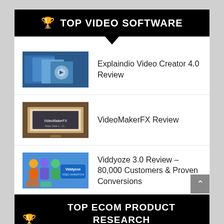TOP VIDEO SOFTWARE
Explaindio Video Creator 4.0 Review
VideoMakerFX Review
Viddyoze 3.0 Review – 80,000 Customers & Proven Conversions
TOP ECOM PRODUCT RESEARCH TOOLS